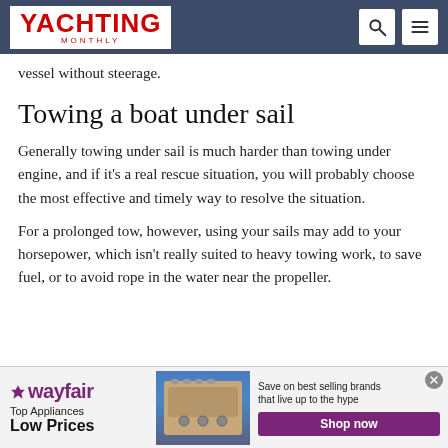YACHTING MONTHLY
vessel without steerage.
Towing a boat under sail
Generally towing under sail is much harder than towing under engine, and if it's a real rescue situation, you will probably choose the most effective and timely way to resolve the situation.
For a prolonged tow, however, using your sails may add to your horsepower, which isn't really suited to heavy towing work, to save fuel, or to avoid rope in the water near the propeller.
[Figure (other): Wayfair advertisement banner: Top Appliances Low Prices, with image of a stove and a Shop now button]